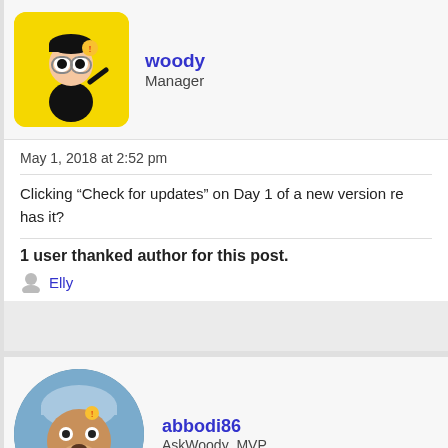[Figure (photo): Avatar for user woody - cartoon character on yellow background]
woody
Manager
May 1, 2018 at 2:52 pm
Clicking “Check for updates” on Day 1 of a new version re has it?
1 user thanked author for this post.
Elly
[Figure (photo): Avatar for user abbodi86 - cartoon dog character with blue hat]
abbodi86
AskWoody_MVP
May 1, 2018 at 3:09 pm